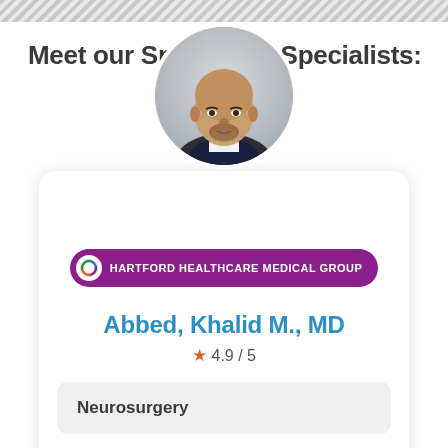Meet our Spine Care Specialists:
[Figure (photo): Circular profile photo of Dr. Khalid M. Abbed, MD — a bald man with a beard wearing a dark suit jacket, with Hartford Healthcare Medical Group badge below]
Abbed, Khalid M., MD
4.9 / 5
Neurosurgery